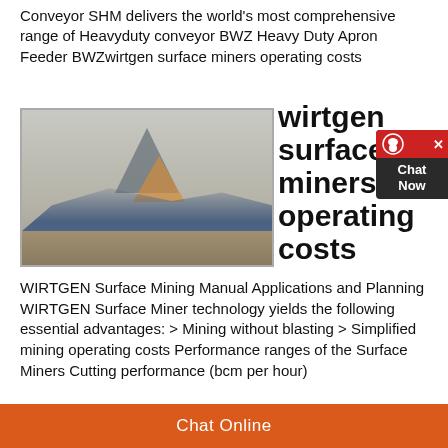Conveyor SHM delivers the world's most comprehensive range of Heavyduty conveyor BWZ Heavy Duty Apron Feeder BWZwirtgen surface miners operating costs
[Figure (photo): Mining machinery / conveyor equipment on a construction site with sand/gravel ground, with a triangle logo watermark overlay]
wirtgen surface miners operating costs
WIRTGEN Surface Mining Manual Applications and Planning WIRTGEN Surface Miner technology yields the following essential advantages: > Mining without blasting > Simplified mining operating costs Performance ranges of the Surface Miners Cutting performance (bcm per hour)
Chat Online